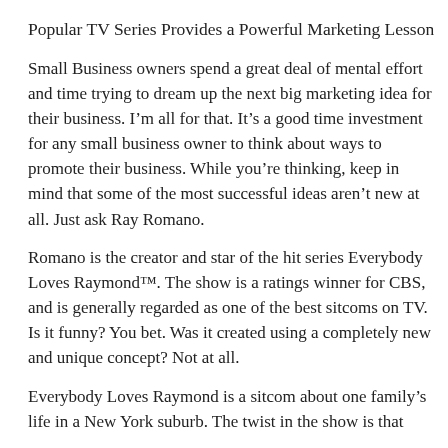Popular TV Series Provides a Powerful Marketing Lesson
Small Business owners spend a great deal of mental effort and time trying to dream up the next big marketing idea for their business. I’m all for that. It’s a good time investment for any small business owner to think about ways to promote their business. While you’re thinking, keep in mind that some of the most successful ideas aren’t new at all. Just ask Ray Romano.
Romano is the creator and star of the hit series Everybody Loves Raymond™. The show is a ratings winner for CBS, and is generally regarded as one of the best sitcoms on TV. Is it funny? You bet. Was it created using a completely new and unique concept? Not at all.
Everybody Loves Raymond is a sitcom about one family’s life in a New York suburb. The twist in the show is that